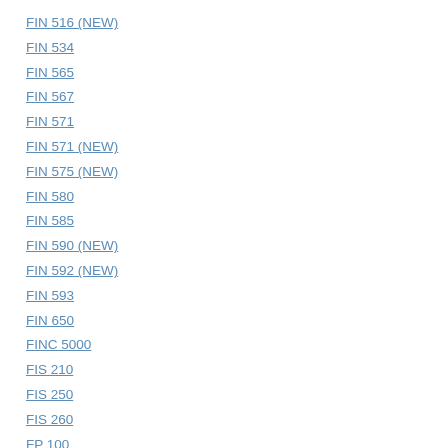FIN 516 (NEW)
FIN 534
FIN 565
FIN 567
FIN 571
FIN 571 (NEW)
FIN 575 (NEW)
FIN 580
FIN 585
FIN 590 (NEW)
FIN 592 (NEW)
FIN 593
FIN 650
FINC 5000
FIS 210
FIS 250
FIS 260
FP 100
FP 100T